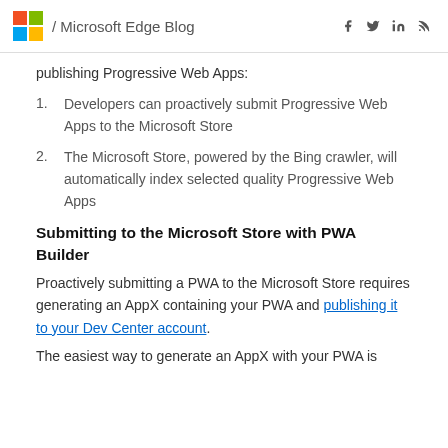/ Microsoft Edge Blog
publishing Progressive Web Apps:
Developers can proactively submit Progressive Web Apps to the Microsoft Store
The Microsoft Store, powered by the Bing crawler, will automatically index selected quality Progressive Web Apps
Submitting to the Microsoft Store with PWA Builder
Proactively submitting a PWA to the Microsoft Store requires generating an AppX containing your PWA and publishing it to your Dev Center account.
The easiest way to generate an AppX with your PWA is